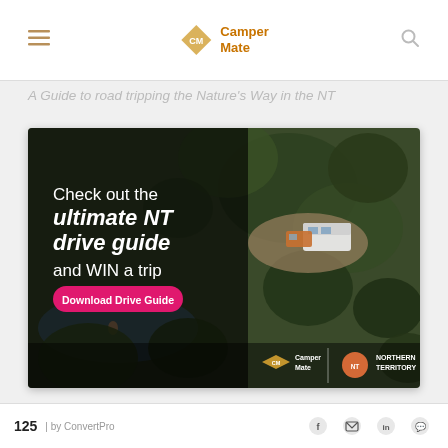CamperMate
A Guide to road tripping the Nature's Way in the NT
[Figure (screenshot): CamperMate advertisement banner showing an aerial photo of a camper van parked in lush Australian bush. Left side has dark overlay with white text: 'Check out the ultimate NT drive guide and WIN a trip' with a pink 'Download Drive Guide' button. Bottom right shows CamperMate and Northern Territory logos.]
125 shares | Powered by ConvertPro | Share icons: Facebook, Email, LinkedIn, WhatsApp